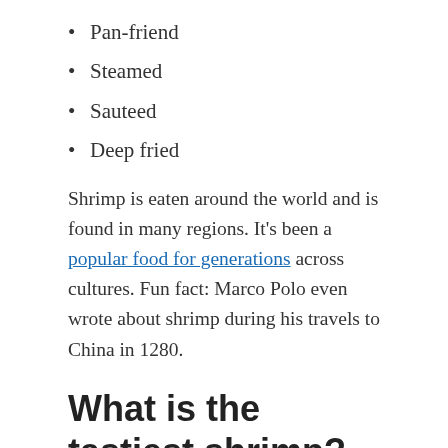Pan-friend
Steamed
Sauteed
Deep fried
Shrimp is eaten around the world and is found in many regions. It’s been a popular food for generations across cultures. Fun fact: Marco Polo even wrote about shrimp during his travels to China in 1280.
What is the tastiest shrimp?
There are THOUSANDS of shrimp species and their